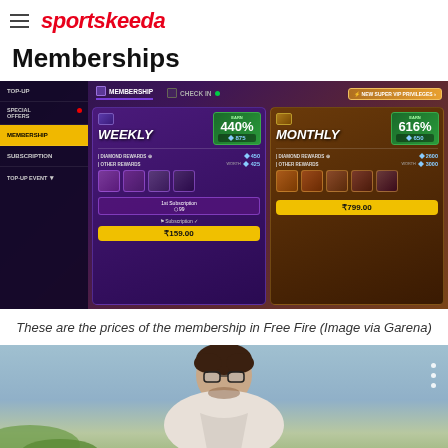sportskeeda
Memberships
[Figure (screenshot): Free Fire game screenshot showing Membership options: Weekly membership (Earn 440%, 875 diamonds, Diamond Rewards 450, Other Rewards worth 425) priced at ₹159.00, and Monthly membership (Earn 616%, 650 diamonds, Diamond Rewards 2600, Other Rewards worth 3000) priced at ₹799.00. Left sidebar shows TOP-UP, SPECIAL OFFERS, MEMBERSHIP (active), SUBSCRIPTION, TOP-UP EVENT options.]
These are the prices of the membership in Free Fire (Image via Garena)
[Figure (photo): Photo of a young man with dark hair, outdoors, with greenery and sky background. Three vertical dots visible on the right side.]